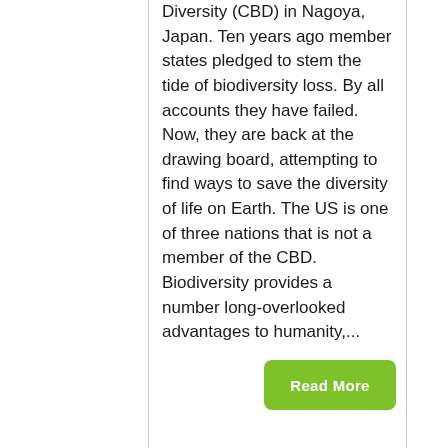Diversity (CBD) in Nagoya, Japan. Ten years ago member states pledged to stem the tide of biodiversity loss. By all accounts they have failed. Now, they are back at the drawing board, attempting to find ways to save the diversity of life on Earth. The US is one of three nations that is not a member of the CBD. Biodiversity provides a number long-overlooked advantages to humanity,...
Read More